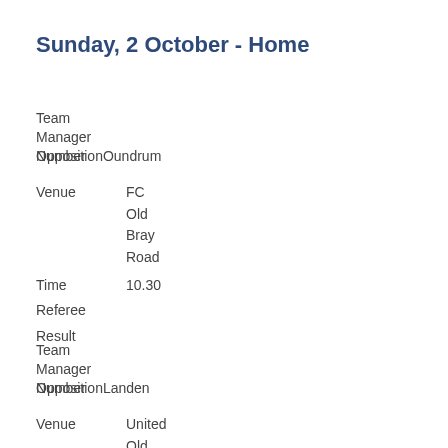Sunday, 2 October - Home
Team
Manager
Number
OppositiOundrum
Venue   FC
        Old
        Bray
        Road
Time    10.30
Referee
Result
Team
Manager
Number
OppositiLanden
Venue   United
        Old
        Bray
        Road
Time    11.30
Referee